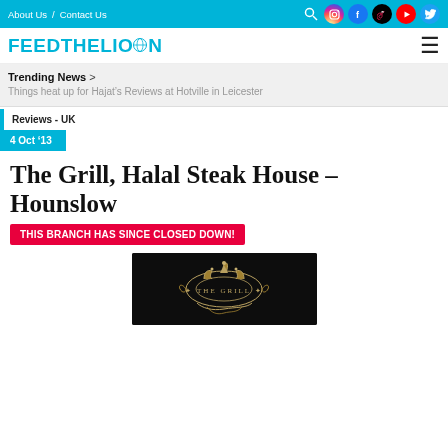About Us / Contact Us
FEEDTHELION
Trending News > Things heat up for Hajat’s Reviews at Hotville in Leicester
Reviews - UK
4 Oct ’13
The Grill, Halal Steak House – Hounslow
THIS BRANCH HAS SINCE CLOSED DOWN!
[Figure (photo): Decorative ornamental crest/logo image for The Grill restaurant on dark background]